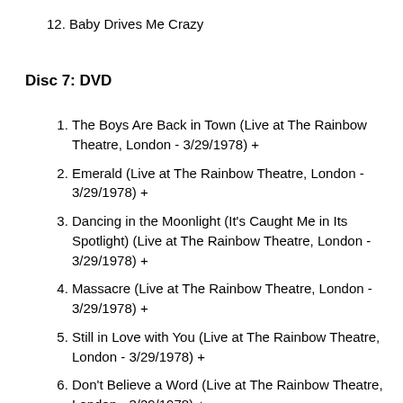12. Baby Drives Me Crazy
Disc 7: DVD
1. The Boys Are Back in Town (Live at The Rainbow Theatre, London - 3/29/1978) +
2. Emerald (Live at The Rainbow Theatre, London - 3/29/1978) +
3. Dancing in the Moonlight (It's Caught Me in Its Spotlight) (Live at The Rainbow Theatre, London - 3/29/1978) +
4. Massacre (Live at The Rainbow Theatre, London - 3/29/1978) +
5. Still in Love with You (Live at The Rainbow Theatre, London - 3/29/1978) +
6. Don't Believe a Word (Live at The Rainbow Theatre, London - 3/29/1978) +